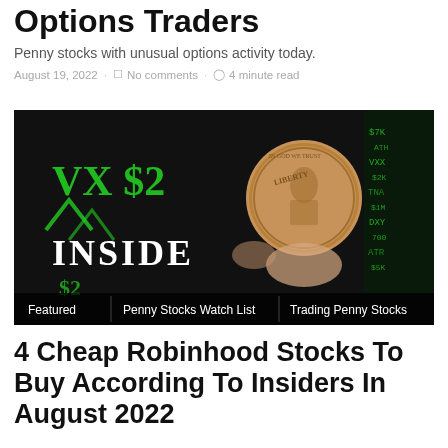Options Traders
Penny stocks with unusual options activity today.
August 19, 2022 · No comments · 4 minute read
[Figure (photo): A penny coin held in front of a dark screen showing 'INSIDE' text with green financial ticker symbols. Image tags at bottom show: Featured, Penny Stocks Watch List, Trading Penny Stocks]
4 Cheap Robinhood Stocks To Buy According To Insiders In August 2022